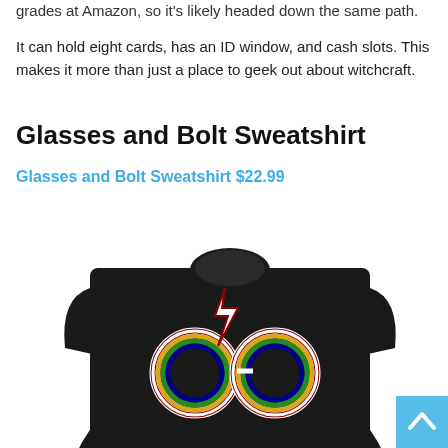grades at Amazon, so it's likely headed down the same path.
It can hold eight cards, has an ID window, and cash slots. This makes it more than just a place to geek out about witchcraft.
Glasses and Bolt Sweatshirt
Glasses and Bolt Sweatshirt $22.99
[Figure (photo): Black sweatshirt with rainbow-colored glasses and lightning bolt graphic on the front]
[Figure (other): Back to top button, light blue square with white chevron arrow]